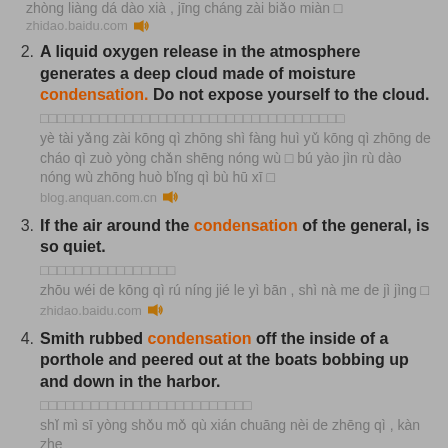zhòng liàng dá dào xià , jīng cháng zài biǎo miàn □
zhidao.baidu.com
2. A liquid oxygen release in the atmosphere generates a deep cloud made of moisture condensation. Do not expose yourself to the cloud.
□□□□□□□□□□□□□□□□□□□□□□□□□□□□□□□□□□□□
yè tài yǎng zài kōng qì zhōng shì fàng huì yǔ kōng qì zhōng de cháo qì zuò yòng chǎn shēng nóng wù □ bú yào jìn rù dào nóng wù zhōng huò bǐng qì bù hū xī □
blog.anquan.com.cn
3. If the air around the condensation of the general, is so quiet.
□□□□□□□□□□□□□□□□
zhōu wéi de kōng qì rú níng jié le yì bān , shì nà me de jì jìng □
zhidao.baidu.com
4. Smith rubbed condensation off the inside of a porthole and peered out at the boats bobbing up and down in the harbor.
□□□□□□□□□□□□□□□□□□□□□□□□□
shǐ mì sī yòng shǒu mǒ qù xián chuāng nèi de zhēng qì , kàn zhe